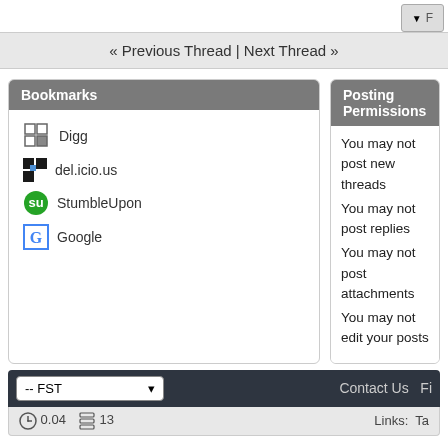« Previous Thread | Next Thread »
Bookmarks
Digg
del.icio.us
StumbleUpon
Google
Posting Permissions
You may not post new threads
You may not post replies
You may not post attachments
You may not edit your posts
-- FST   Contact Us   Fi...
0.04   13   Links: Ta...
The time now is 02:44 AM
Copyright ©2000 - 2022, Jelsoft Enterprises Ltd.
FileSharingTalk.com - All Rights Reserved
Digital Point modules: Sphinx-based search